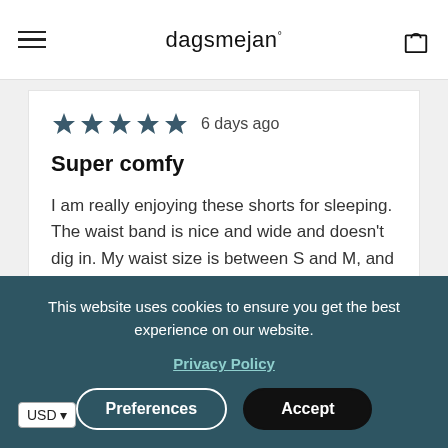dagsmejan°
6 days ago
Super comfy
I am really enjoying these shorts for sleeping. The waist band is nice and wide and doesn't dig in. My waist size is between S and M, and S fits perfectly.
Sleep comfort with Dagsmejan?
Poor ... Excellent
This website uses cookies to ensure you get the best experience on our website.
Privacy Policy
Preferences
Accept